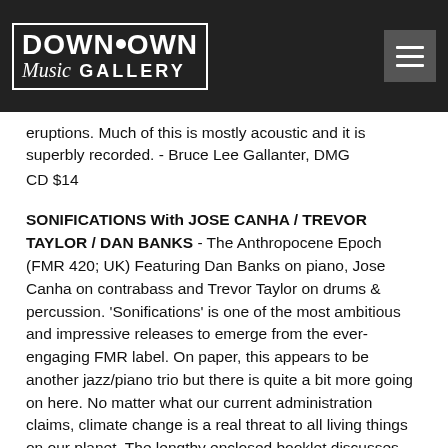Downtown Music Gallery
eruptions. Much of this is mostly acoustic and it is superbly recorded. - Bruce Lee Gallanter, DMG
CD $14
SONIFICATIONS With JOSE CANHA / TREVOR TAYLOR / DAN BANKS - The Anthropocene Epoch (FMR 420; UK) Featuring Dan Banks on piano, Jose Canha on contrabass and Trevor Taylor on drums & percussion. 'Sonifications' is one of the most ambitious and impressive releases to emerge from the ever-engaging FMR label. On paper, this appears to be another jazz/piano trio but there is quite a bit more going on here. No matter what our current administration claims, climate change is a real threat to all living things on our planet. The lengthy enclosed booklet discusses climate change at length and the way humanity has caused much its destructive forces. The scientific data which plots these changes and their effects is illustrated in the booklet and that data has inspired the music on this two disc set. The first disc is a DVD video filmed at Voodoo Studio, while the second disc is a CD recorded at Visconti Studios. I know very little about pianist Dan Banks or